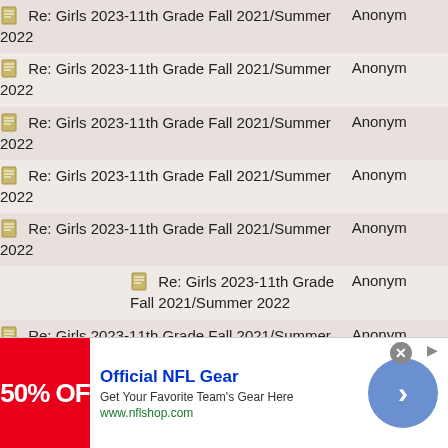| Subject | Author |
| --- | --- |
| Re: Girls 2023-11th Grade Fall 2021/Summer 2022 | Anonym |
| Re: Girls 2023-11th Grade Fall 2021/Summer 2022 | Anonym |
| Re: Girls 2023-11th Grade Fall 2021/Summer 2022 | Anonym |
| Re: Girls 2023-11th Grade Fall 2021/Summer 2022 | Anonym |
| Re: Girls 2023-11th Grade Fall 2021/Summer 2022 | Anonym |
| Re: Girls 2023-11th Grade Fall 2021/Summer 2022 | Anonym |
| Re: Girls 2023-11th Grade Fall 2021/Summer 2022 | Anonym |
| Re: Girls 2023-11th Grade Fall 2021/Summer 2022 | cltlax |
[Figure (other): Advertisement banner: Official NFL Gear, 50% OFF, Get Your Favorite Team's Gear Here, www.nflshop.com]